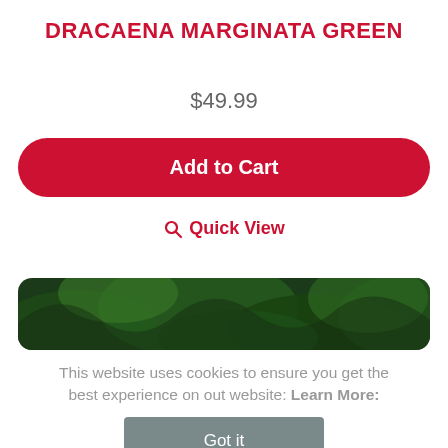DRACAENA MARGINATA GREEN
$49.99
Add to Cart
Quick View
[Figure (photo): Close-up photo of green plant leaves (Dracaena Marginata Green)]
This website uses cookies to ensure you get the best experience on out website: Learn More:
Got it